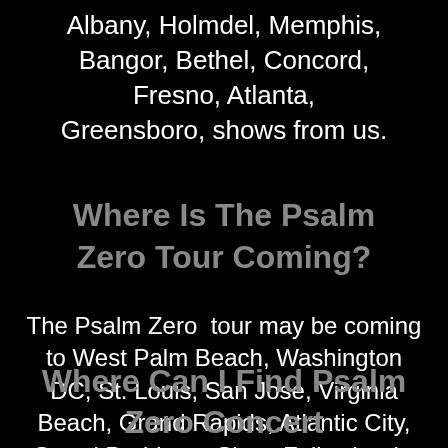Albany, Holmdel, Memphis, Bangor, Bethel, Concord, Fresno, Atlanta, Greensboro, shows from us.
Where Is The Psalm Zero Tour Coming?
The Psalm Zero  tour may be coming to West Palm Beach, Washington DC, St. Louis, San Jose, Virginia Beach, Grand Rapids, Atlantic City, Grand Prairie, or Sioux Falls shortly.
Where Can I Find Psalm Zero Concert